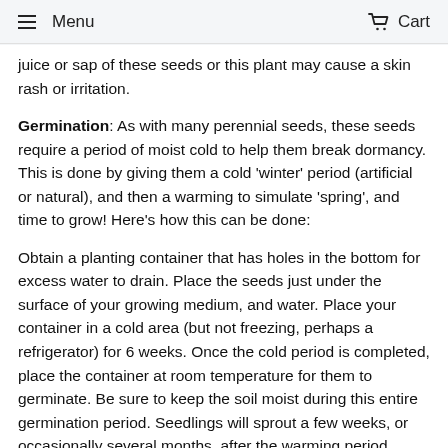≡  Menu   🛒  Cart
juice or sap of these seeds or this plant may cause a skin rash or irritation.
Germination: As with many perennial seeds, these seeds require a period of moist cold to help them break dormancy. This is done by giving them a cold 'winter' period (artificial or natural), and then a warming to simulate 'spring', and time to grow! Here's how this can be done:
Obtain a planting container that has holes in the bottom for excess water to drain. Place the seeds just under the surface of your growing medium, and water. Place your container in a cold area (but not freezing, perhaps a refrigerator) for 6 weeks. Once the cold period is completed, place the container at room temperature for them to germinate. Be sure to keep the soil moist during this entire germination period. Seedlings will sprout a few weeks, or occasionally several months, after the warming period.
If you are planting your seeds in late winter or spring, these seeds